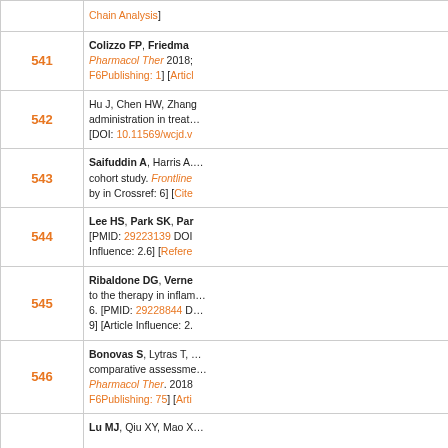| # | Reference |
| --- | --- |
| 541 | Colizzo FP, Friedma… Pharmacol Ther 2018; F6Publishing: 1] [Artic… |
| 542 | Hu J, Chen HW, Zhang… administration in treat… [DOI: 10.11569/wcjd.v… |
| 543 | Saifuddin A, Harris A.… cohort study. Frontline… by in Crossref: 6] [Cite… |
| 544 | Lee HS, Park SK, Par… [PMID: 29223139 DOI… Influence: 2.6] [Refere… |
| 545 | Ribaldone DG, Verne… to the therapy in inflam… 6. [PMID: 29228844 D… 9] [Article Influence: 2.… |
| 546 | Bonovas S, Lytras T, … comparative assessme… Pharmacol Ther. 2018… F6Publishing: 75] [Arti… |
| 547 | Lu MJ, Qiu XY, Mao X… |